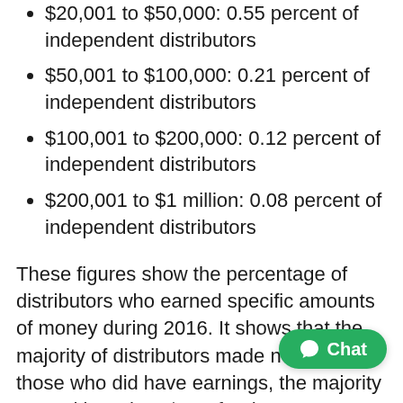$20,001 to $50,000: 0.55 percent of independent distributors
$50,001 to $100,000: 0.21 percent of independent distributors
$100,001 to $200,000: 0.12 percent of independent distributors
$200,001 to $1 million: 0.08 percent of independent distributors
These figures show the percentage of distributors who earned specific amounts of money during 2016. It shows that the majority of distributors made nothing. Of those who did have earnings, the majority earned less than $500 for the year 2016.
You can read all of these figures here.
USANA states that in 2016 in the United States,